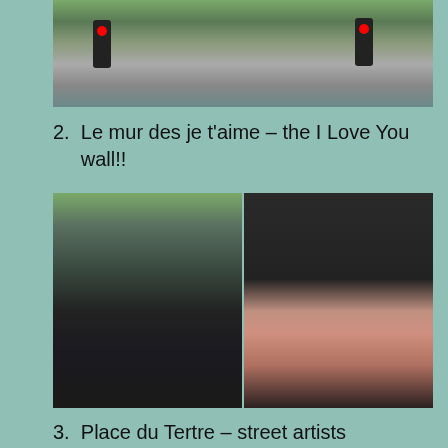[Figure (photo): Street scene in Paris with traffic lights, trees, and a street lamp, partially cropped at top]
2. Le mur des je t'aime – the I Love You wall!!
[Figure (photo): Two photos side by side: left shows the I Love You wall (Le mur des je t'aime) with text in many languages on a dark background, with a person in blue dress visible; right shows a couple (woman with red hair and a man with a white cap and beard) smiling in front of the wall]
3. Place du Tertre – street artists working / pretty alleyways